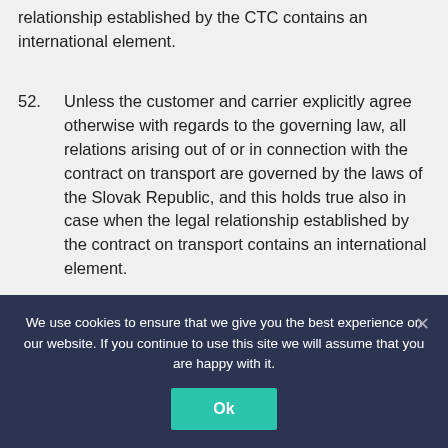relationship established by the CTC contains an international element.
52. Unless the customer and carrier explicitly agree otherwise with regards to the governing law, all relations arising out of or in connection with the contract on transport are governed by the laws of the Slovak Republic, and this holds true also in case when the legal relationship established by the contract on transport contains an international element.
We use cookies to ensure that we give you the best experience on our website. If you continue to use this site we will assume that you are happy with it.